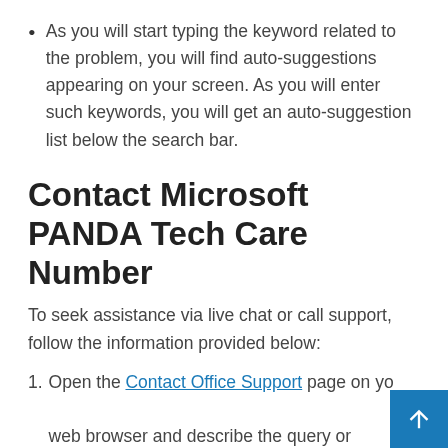As you will start typing the keyword related to the problem, you will find auto-suggestions appearing on your screen. As you will enter such keywords, you will get an auto-suggestion list below the search bar.
Contact Microsoft PANDA Tech Care Number
To seek assistance via live chat or call support, follow the information provided below:
1. Open the Contact Office Support page on your web browser and describe the query or problems that you are facing with your PANDA account.